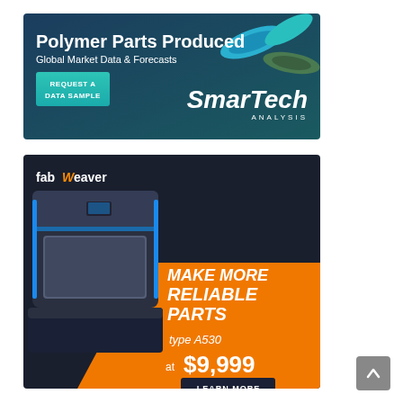[Figure (illustration): SmarTech Analysis advertisement: 'Polymer Parts Produced – Global Market Data & Forecasts' with a teal 'Request a Data Sample' button and the SmarTech Analysis logo, dark blue background with polymer part shapes]
[Figure (illustration): FabWeaver advertisement showing a 3D printer (type A530) with text 'MAKE MORE RELIABLE PARTS', priced 'at $9,999', with 'LEARN MORE' button. Dark background with orange diagonal accent.]